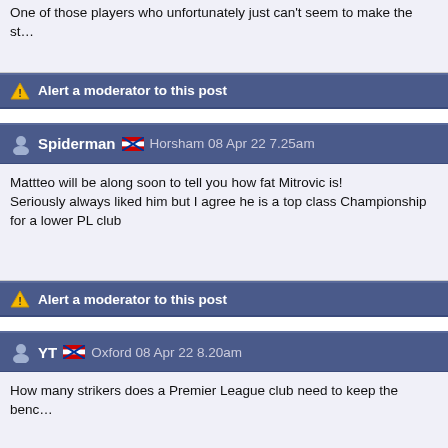One of those players who unfortunately just can't seem to make the st…
Alert a moderator to this post
Spiderman 🏴󠁧󠁢󠁥󠁮󠁧󠁿 Horsham 08 Apr 22 7.25am
Mattteo will be along soon to tell you how fat Mitrovic is! Seriously always liked him but I agree he is a top class Championship for a lower PL club
Alert a moderator to this post
YT 🏴󠁧󠁢󠁥󠁮󠁧󠁿 Oxford 08 Apr 22 8.20am
How many strikers does a Premier League club need to keep the benc…
Palace since 19 August 1972. Palace 1 (Tony Taylor) Liverpool 1 (Emly…
Alert a moderator to this post